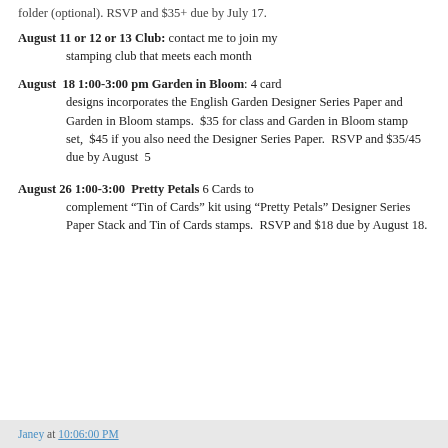folder (optional). RSVP and $35+ due by July 17.
August 11 or 12 or 13 Club: contact me to join my stamping club that meets each month
August 18 1:00-3:00 pm Garden in Bloom: 4 card designs incorporates the English Garden Designer Series Paper and Garden in Bloom stamps. $35 for class and Garden in Bloom stamp set, $45 if you also need the Designer Series Paper. RSVP and $35/45 due by August 5
August 26 1:00-3:00 Pretty Petals 6 Cards to complement “Tin of Cards” kit using “Pretty Petals” Designer Series Paper Stack and Tin of Cards stamps. RSVP and $18 due by August 18.
Janey at 10:06:00 PM